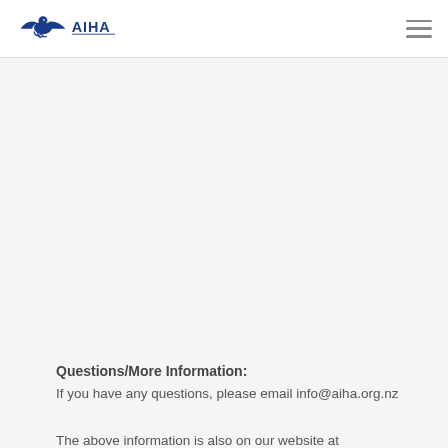[Figure (logo): AIHA logo with eagle/hawk graphic and text in blue]
Questions/More Information:
If you have any questions, please email info@aiha.org.nz
The above information is also on our website at...